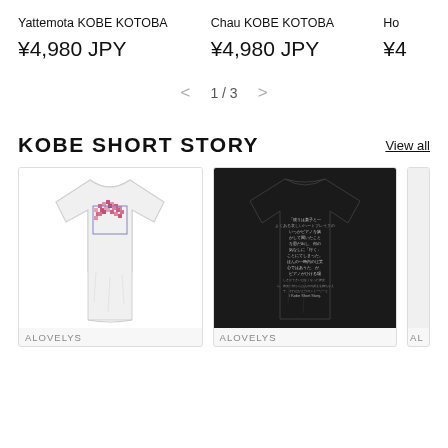Yattemota KOBE KOTOBA
¥4,980 JPY
Chau KOBE KOTOBA
¥4,980 JPY
Ho...
¥4...
1 / 3
KOBE SHORT STORY
View all
[Figure (photo): White t-shirt with pink floral pixel art graphic and purple rectangle border]
ALOVELYS
[Figure (photo): Black t-shirt showing back with Japanese text printed in white]
ALOVELYS